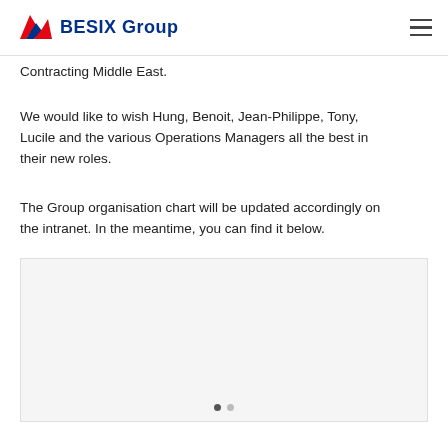BESIX Group
Contracting Middle East.
We would like to wish Hung, Benoit, Jean-Philippe, Tony, Lucile and the various Operations Managers all the best in their new roles.
The Group organisation chart will be updated accordingly on the intranet. In the meantime, you can find it below.
[Figure (other): A large grey placeholder image box for the organisation chart, with two navigation dots (one filled, one empty) at the bottom center.]